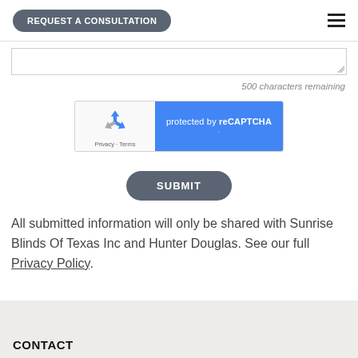REQUEST A CONSULTATION
500 characters remaining
[Figure (screenshot): reCAPTCHA widget showing recycling arrows logo on white/gray background on the left, and 'protected by reCAPTCHA' text on blue background on the right, with Privacy · Terms links below the logo]
SUBMIT
All submitted information will only be shared with Sunrise Blinds Of Texas Inc and Hunter Douglas. See our full Privacy Policy.
CONTACT